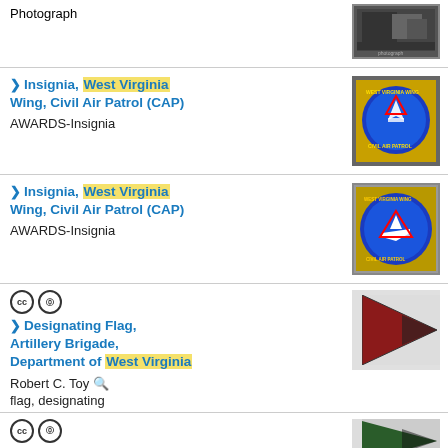Photograph
[Figure (photo): Black and white photograph thumbnail]
Insignia, West Virginia Wing, Civil Air Patrol (CAP)
AWARDS-Insignia
[Figure (photo): West Virginia Wing Civil Air Patrol patch - blue circular patch with airplane]
Insignia, West Virginia Wing, Civil Air Patrol (CAP)
AWARDS-Insignia
[Figure (photo): West Virginia Wing Civil Air Patrol patch - second version]
Designating Flag, Artillery Brigade, Department of West Virginia
Robert C. Toy
flag, designating
[Figure (photo): Designating flag photo - dark red triangular flag]
Designating Flag,